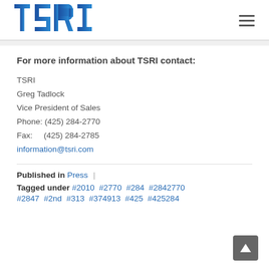[Figure (logo): TSRI logo in blue gradient]
For more information about TSRI contact:
TSRI
Greg Tadlock
Vice President of Sales
Phone: (425) 284-2770
Fax:    (425) 284-2785
information@tsri.com
Published in Press |
Tagged under #2010 #2770 #284 #2842770 #2847 #2nd #313 #374913 #425 #425284